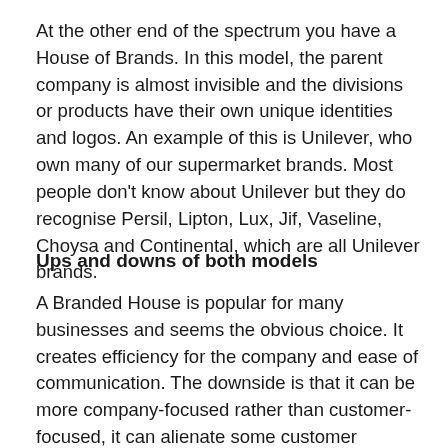At the other end of the spectrum you have a House of Brands. In this model, the parent company is almost invisible and the divisions or products have their own unique identities and logos. An example of this is Unilever, who own many of our supermarket brands. Most people don't know about Unilever but they do recognise Persil, Lipton, Lux, Jif, Vaseline, Choysa and Continental, which are all Unilever brands.
Ups and downs of both models
A Branded House is popular for many businesses and seems the obvious choice. It creates efficiency for the company and ease of communication. The downside is that it can be more company-focused rather than customer-focused, it can alienate some customer groups, important products can be undervalued, and customers can be confused if a company sells very different products under the same brand. E.g.